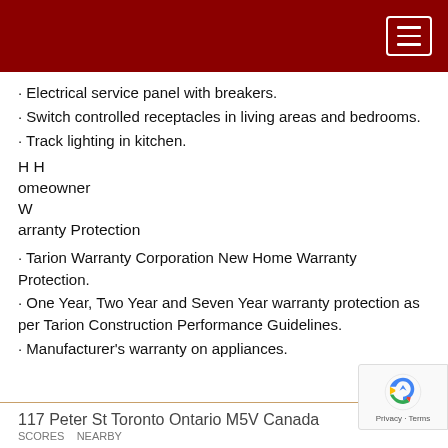[Figure (screenshot): Dark red navigation header bar with hamburger menu button (three horizontal lines) in white border box at top right]
Electrical service panel with breakers.
Switch controlled receptacles in living areas and bedrooms.
Track lighting in kitchen.
Homeowner Warranty Protection
Tarion Warranty Corporation New Home Warranty Protection.
One Year, Two Year and Seven Year warranty protection as per Tarion Construction Performance Guidelines.
Manufacturer's warranty on appliances.
117 Peter St Toronto Ontario M5V Canada
[Figure (logo): reCAPTCHA logo with Privacy · Terms text]